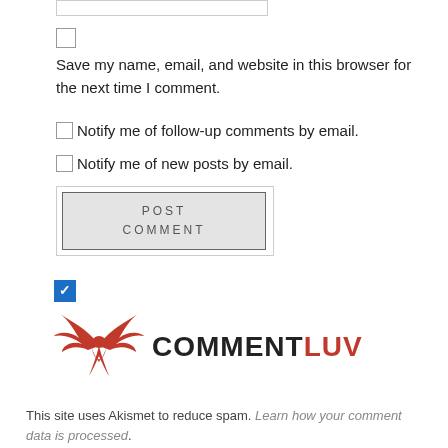Save my name, email, and website in this browser for the next time I comment.
Notify me of follow-up comments by email.
Notify me of new posts by email.
[Figure (illustration): POST COMMENT button with outer frame and inner bordered button]
[Figure (logo): CommentLuv logo with red phoenix/wings icon and COMMENTLUV text (LUV in red), with a blue checked checkbox above]
This site uses Akismet to reduce spam. Learn how your comment data is processed.